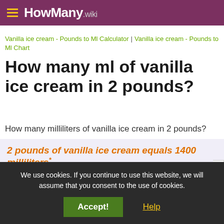HowMany.wiki
Vanilla ice cream - Pounds to Ml Calculator | Vanilla ice cream - Pounds to Ml Chart
How many ml of vanilla ice cream in 2 pounds?
How many milliliters of vanilla ice cream in 2 pounds?
2 pounds of vanilla ice cream equals 1400 milliliters*
We use cookies. If you continue to use this website, we will assume that you consent to the use of cookies.
Accept!
Help